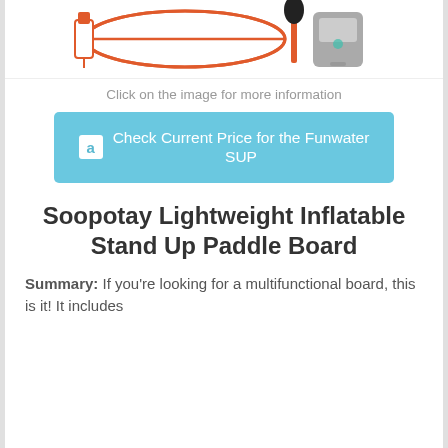[Figure (photo): Product image showing a Funwater SUP inflatable stand up paddle board kit with board, paddle, and backpack accessories, in white and orange colors]
Click on the image for more information
Check Current Price for the Funwater SUP
Soopotay Lightweight Inflatable Stand Up Paddle Board
Summary: If you're looking for a multifunctional board, this is it! It includes